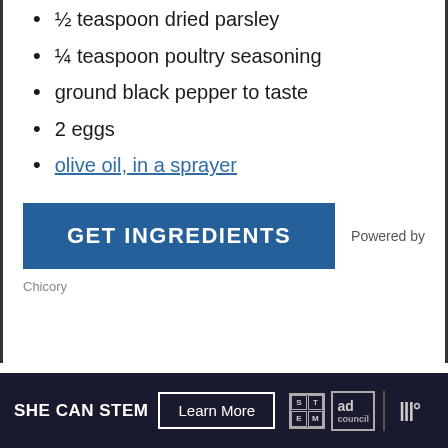½ teaspoon dried parsley
¼ teaspoon poultry seasoning
ground black pepper to taste
2 eggs
olive oil, in a sprayer
GET INGREDIENTS   Powered by   Chicory
SHE CAN STEM   Learn More   [STEM logo] [Ad Council logo] [W logo]